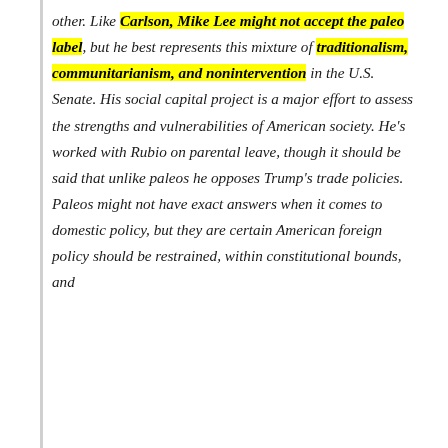other. Like Carlson, Mike Lee might not accept the paleo label, but he best represents this mixture of traditionalism, communitarianism, and nonintervention in the U.S. Senate. His social capital project is a major effort to assess the strengths and vulnerabilities of American society. He's worked with Rubio on parental leave, though it should be said that unlike paleos he opposes Trump's trade policies. Paleos might not have exact answers when it comes to domestic policy, but they are certain American foreign policy should be restrained, within constitutional bounds, and